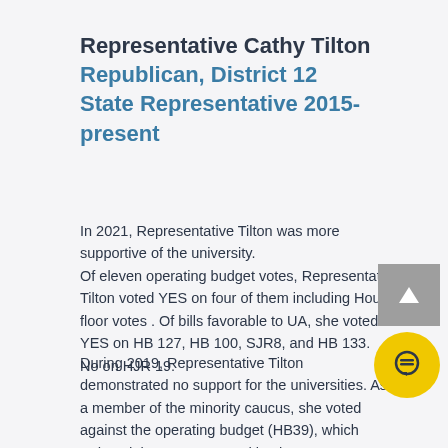Representative Cathy Tilton Republican, District 12 State Representative 2015-present
In 2021, Representative Tilton was more supportive of the university. Of eleven operating budget votes, Representative Tilton voted YES on four of them including House floor votes . Of bills favorable to UA, she voted YES on HB 127, HB 100, SJR8, and HB 133. No on HJR 19.
During 2019, Representative Tilton demonstrated no support for the universities. As a member of the minority caucus, she voted against the operating budget (HB39), which reduced the cuts proposed by the governor. As a member of the House Finance Committee, Representative Tilton voted to cut the UA